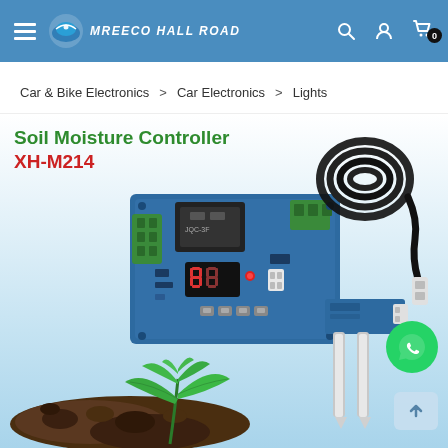MREECO HALL ROAD
Car & Bike Electronics > Car Electronics > Lights
[Figure (photo): Soil Moisture Controller XH-M214 product photo showing the electronic control board with relay, sensor module with two metal probes, cable with connector, and a green plant seedling on soil in the background]
Soil Moisture Controller XH-M214